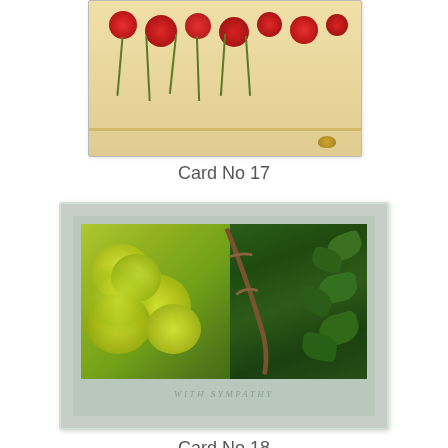[Figure (photo): Greeting card No 17 showing red poppy flowers on a beige/cream background]
Card No 17
[Figure (photo): Greeting card No 18 - sympathy card with grey/sage green border, photo of yellow-green chrysanthemums and ivy with text 'WITH SYMPATHY']
Card No 18
[Figure (photo): Greeting card No 19 (partially visible) showing a purple/mauve rolled rose with green leaves on white background with wooden frame border]